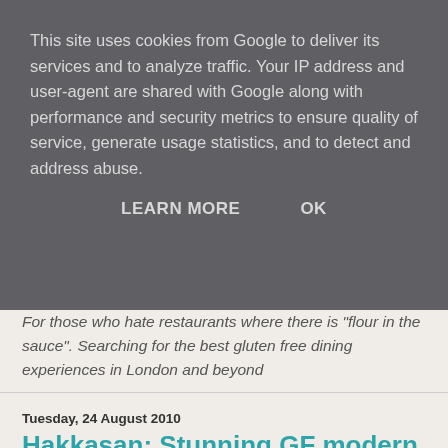This site uses cookies from Google to deliver its services and to analyze traffic. Your IP address and user-agent are shared with Google along with performance and security metrics to ensure quality of service, generate usage statistics, and to detect and address abuse.
LEARN MORE   OK
For those who hate restaurants where there is "flour in the sauce". Searching for the best gluten free dining experiences in London and beyond
Tuesday, 24 August 2010
Hakkasan: Stunning GF modern Chinese cuisine
I'm not sure about you, but I've avoided Chinese food completely since becoming gluten free. There's always the fear of soy sauce lurking around every corner, and indeed, in every dish.
A solution – and an absolutely fabulous, Michelin-starred